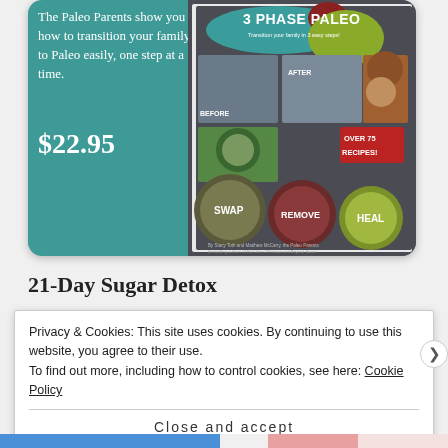[Figure (illustration): Teal promotional card for '3 Phase Paleo' book showing book cover with family photos, food photos, and the text 'SWAP REMOVE HEAL', 'OVER 75 RECIPES!', priced at $22.95]
The Paleo Parents show you how to transition your family to Paleo easily, one step at a time.
$22.95
21-Day Sugar Detox
Privacy & Cookies: This site uses cookies. By continuing to use this website, you agree to their use.
To find out more, including how to control cookies, see here: Cookie Policy
Close and accept